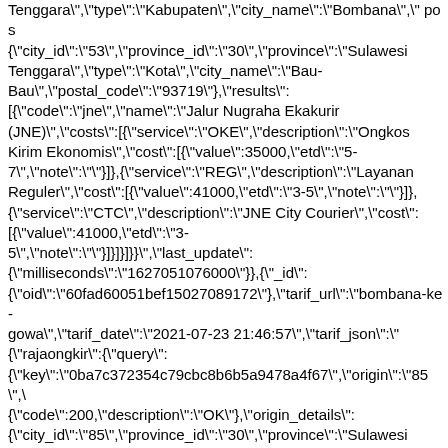Tenggara","type":"Kabupaten","city_name":"Bombana","pos {"city_id":"53","province_id":"30","province":"Sulawesi Tenggara","type":"Kota","city_name":"Bau-Bau","postal_code":"93719"},"results": [{"code":"jne","name":"Jalur Nugraha Ekakurir (JNE)","costs":[{"service":"OKE","description":"Ongkos Kirim Ekonomis","cost":[{"value":35000,"etd":"5-7","note":""}]},{"service":"REG","description":"Layanan Reguler","cost":[{"value":41000,"etd":"3-5","note":""}]},{"service":"CTC","description":"JNE City Courier","cost":[{"value":41000,"etd":"3-5","note":""}]}]}]}}","last_update":{"milliseconds":"1627051076000"}},{"_id":{"oid":"60fad60051bef15027089172"},"tarif_url":"bombana-ke-gowa","tarif_date":"2021-07-23 21:46:57","tarif_json":"{"rajaongkir":{"query":{"key":"0ba7c372354c79cbc8b6b5a9478a4f67","origin":"85",\ {"code":200,"description":"OK"},"origin_details":{"city_id":"85","province_id":"30","province":"Sulawesi Tenggara","type":"Kabupaten","city_name":"Bombana","post {"city_id":"132","province_id":"28","province":"Sulawesi Selatan","type":"Kabupaten","city_name":"Gowa","postal_co [{"code":"jne","name":"Jalur Nugraha Ekakurir (JNE)","costs":[{"service":"OKE","description":"Ongkos Kirim Ekonomis","cost":[{"value":48000,"etd":"2-2","note":""}]},{"service":"REG","description":"Layanan